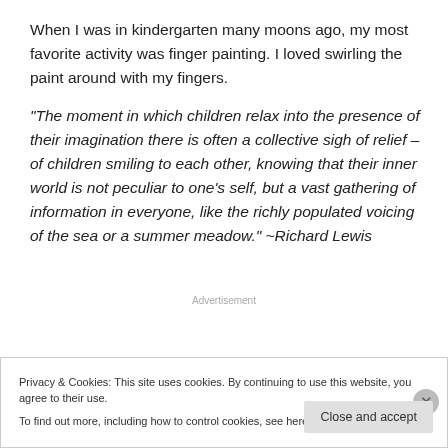When I was in kindergarten many moons ago, my most favorite activity was finger painting. I loved swirling the paint around with my fingers.
“The moment in which children relax into the presence of their imagination there is often a collective sigh of relief – of children smiling to each other, knowing that their inner world is not peculiar to one’s self, but a vast gathering of information in everyone, like the richly populated voicing of the sea or a summer meadow.” ~Richard Lewis
Advertisement
Privacy & Cookies: This site uses cookies. By continuing to use this website, you agree to their use.
To find out more, including how to control cookies, see here: Cookie Policy
Close and accept